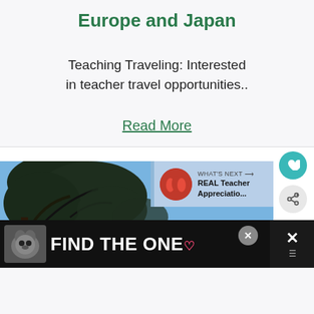Europe and Japan
Teaching Traveling: Interested in teacher travel opportunities..
Read More
[Figure (screenshot): Partial screenshot of a webpage showing trees against a blue sky with a 'What's Next' overlay showing a thumbnail and 'REAL Teacher Appreciatio...' text, a heart button, a share button, and a dark ad banner at the bottom reading 'FIND THE ONE' with a dog image.]